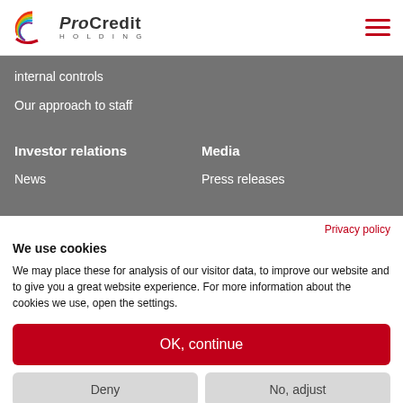ProCredit HOLDING
internal controls
Our approach to staff
Investor relations
Media
News
Press releases
Privacy policy
We use cookies
We may place these for analysis of our visitor data, to improve our website and to give you a great website experience. For more information about the cookies we use, open the settings.
OK, continue
Deny
No, adjust